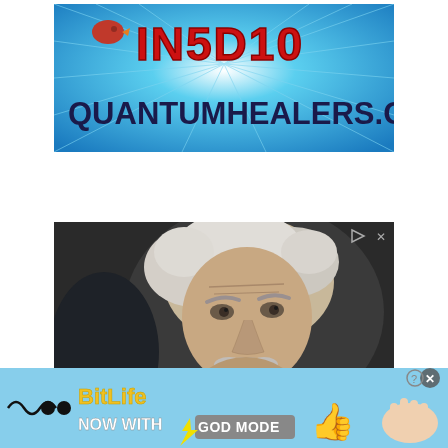[Figure (illustration): Advertisement banner for IN5D10 and QuantumHealers.com. Blue starburst background with a red cardinal bird icon, bold red text 'IN5D10' at top, and dark navy bold text 'QUANTUMHEALERS.COM' below.]
[Figure (photo): Close-up photograph of an elderly man resembling Albert Einstein, with white disheveled hair and mustache, wearing dark clothing, hands clasped together, looking thoughtful against a dark background. Ad indicator icons (triangle play button and X) visible in upper right corner.]
[Figure (illustration): BitLife mobile game advertisement banner. Light blue background with black wavy line and two black circles on left, 'BitLife' text in yellow/gold bold font, 'NOW WITH' text in white bold, 'GOD MODE' in a gray badge/button style, yellow pointing hand emoji, and illustrated hand gesture on right. Close X button in top right.]